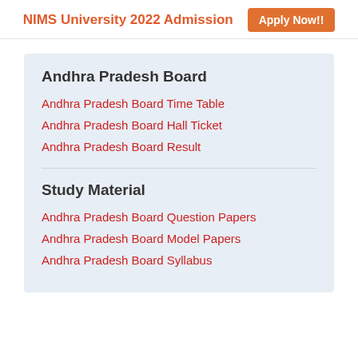NIMS University 2022 Admission  Apply Now!!
Andhra Pradesh Board
Andhra Pradesh Board Time Table
Andhra Pradesh Board Hall Ticket
Andhra Pradesh Board Result
Study Material
Andhra Pradesh Board Question Papers
Andhra Pradesh Board Model Papers
Andhra Pradesh Board Syllabus